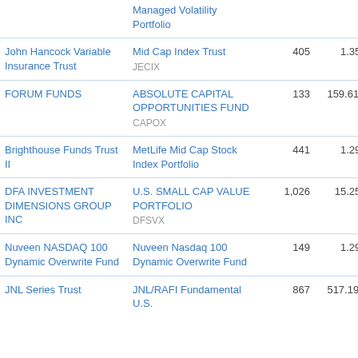| Trust | Fund | Num | AUM1 | AUM2 | Val |
| --- | --- | --- | --- | --- | --- |
|  | Managed Volatility Portfolio |  |  |  |  |
| John Hancock Variable Insurance Trust | Mid Cap Index Trust
JECIX | 405 | 1.35B | 1.55M | 0.11 |
| FORUM FUNDS | ABSOLUTE CAPITAL OPPORTUNITIES FUND
CAPOX | 133 | 159.61M | 166.43K | 0.11 |
| Brighthouse Funds Trust II | MetLife Mid Cap Stock Index Portfolio | 441 | 1.29B | 1.31M | 0.11 |
| DFA INVESTMENT DIMENSIONS GROUP INC | U.S. SMALL CAP VALUE PORTFOLIO
DFSVX | 1,026 | 15.25B | 15.8M | 0.11 |
| Nuveen NASDAQ 100 Dynamic Overwrite Fund | Nuveen Nasdaq 100 Dynamic Overwrite Fund | 149 | 1.29B | 1.42M | 0.11 |
| JNL Series Trust | JNL/RAFI Fundamental U.S. | 867 | 517.19M | 572.48K | 0.11 |